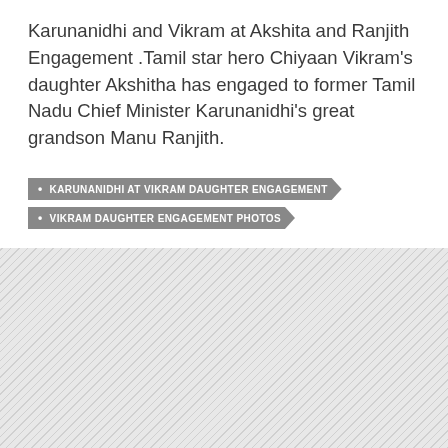Karunanidhi and Vikram at Akshita and Ranjith Engagement .Tamil star hero Chiyaan Vikram's daughter Akshitha has engaged to former Tamil Nadu Chief Minister Karunanidhi's great grandson Manu Ranjith.
KARUNANIDHI AT VIKRAM DAUGHTER ENGAGEMENT
VIKRAM DAUGHTER ENGAGEMENT PHOTOS
[Figure (other): Hatched gray diagonal pattern placeholder image area]